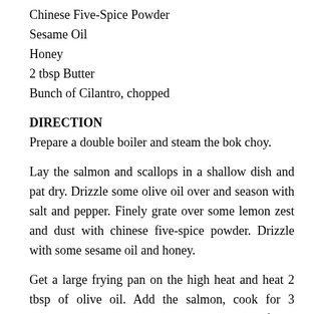Chinese Five-Spice Powder
Sesame Oil
Honey
2 tbsp Butter
Bunch of Cilantro, chopped
DIRECTION
Prepare a double boiler and steam the bok choy.
Lay the salmon and scallops in a shallow dish and pat dry. Drizzle some olive oil over and season with salt and pepper. Finely grate over some lemon zest and dust with chinese five-spice powder. Drizzle with some sesame oil and honey.
Get a large frying pan on the high heat and heat 2 tbsp of olive oil. Add the salmon, cook for 3 minutes. turn the salmon over and cook for 5 minutes. Quickly add the